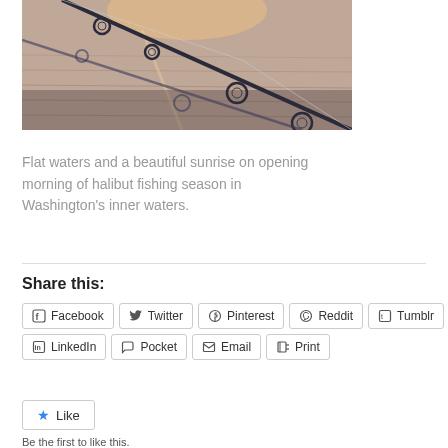[Figure (photo): Fishing rods with guides/rings over flat water at sunrise/sunset with pink and golden light reflecting on the water surface.]
Flat waters and a beautiful sunrise on opening morning of halibut fishing season in Washington's inner waters.
Share this:
Facebook  Twitter  Pinterest  Reddit  Tumblr  LinkedIn  Pocket  Email  Print
Like
Be the first to like this.